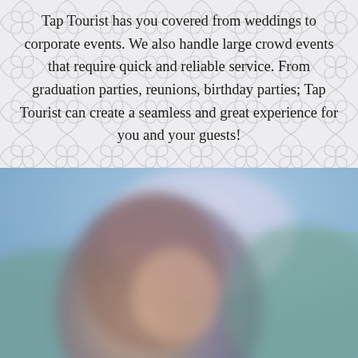Tap Tourist has you covered from weddings to corporate events. We also handle large crowd events that require quick and reliable service. From graduation parties, reunions, birthday parties; Tap Tourist can create a seamless and great experience for you and your guests!
[Figure (photo): Blurred outdoor photo of a person with long hair in foreground, with a sky and landscape background in blue-green tones]